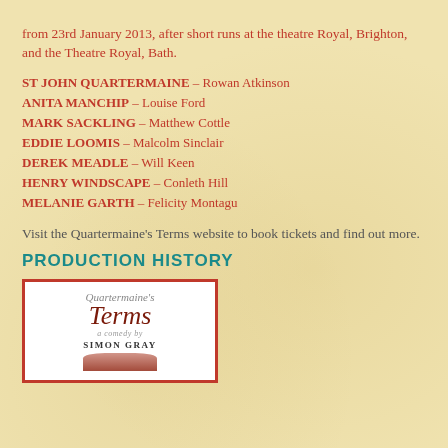from 23rd January 2013, after short runs at the theatre Royal, Brighton, and the Theatre Royal, Bath.
ST JOHN QUARTERMAINE – Rowan Atkinson
ANITA MANCHIP – Louise Ford
MARK SACKLING – Matthew Cottle
EDDIE LOOMIS – Malcolm Sinclair
DEREK MEADLE – Will Keen
HENRY WINDSCAPE – Conleth Hill
MELANIE GARTH – Felicity Montagu
Visit the Quartermaine's Terms website to book tickets and find out more.
PRODUCTION HISTORY
[Figure (illustration): Book cover of Quartermaine's Terms by Simon Gray, with red border and cursive title text, and a rose illustration at the bottom.]